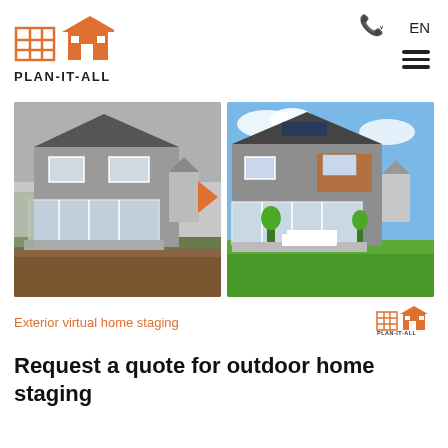[Figure (logo): Plan-It-All logo with orange house and grid icons, text PLAN-IT-ALL]
[Figure (other): Phone icon with dropdown arrow and EN language selector, plus hamburger menu]
[Figure (photo): Before and after exterior virtual home staging photos of a modern two-story house. Before shows bare dirt surroundings, after shows landscaped green lawn and patio furniture. Orange arrow chevron between images.]
Exterior virtual home staging
[Figure (logo): Small Plan-It-All logo (watermark) in bottom right of image area]
Request a quote for outdoor home staging